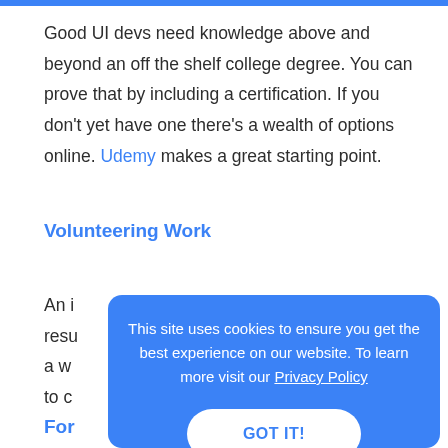Good UI devs need knowledge above and beyond an off the shelf college degree. You can prove that by including a certification. If you don't yet have one there's a wealth of options online. Udemy makes a great starting point.
Volunteering Work
An i[...] resu[...] a w[...] to c[...]
This site uses cookies to ensure you get the best experience on our website. To learn more visit our Privacy Policy
GOT IT!
For[...]